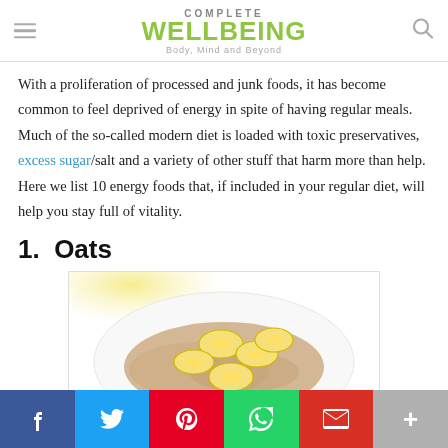COMPLETE WELLBEING — Body, Mind and Beyond
With a proliferation of processed and junk foods, it has become common to feel deprived of energy in spite of having regular meals. Much of the so-called modern diet is loaded with toxic preservatives, excess sugar/salt and a variety of other stuff that harm more than help.  Here we list 10 energy foods that, if included in your regular diet, will help you stay full of vitality.
1.  Oats
[Figure (photo): A bowl of oatmeal topped with sliced bananas, photographed from above on a white background with a yellow gradient in the upper left.]
Social share bar: Facebook, Twitter, Pinterest, WhatsApp, Gmail, More